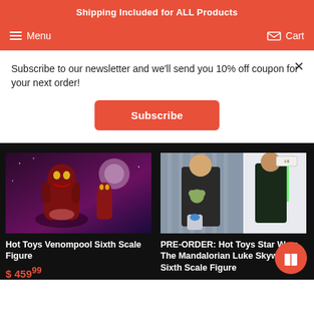Shipping Included for ALL Products
Menu
Cart
Subscribe to our newsletter and we'll send you 10% off coupon for your next order!
Subscribe
[Figure (photo): Hot Toys Venompool Sixth Scale Figure product image showing dark red monster figure in space setting]
Hot Toys Venompool Sixth Scale Figure
$ 459.99
[Figure (photo): PRE-ORDER: Hot Toys Star Wars The Mandalorian Luke Skywalker Sixth Scale Figure product image showing Luke Skywalker with Baby Yoda and R2-D2]
PRE-ORDER: Hot Toys Star Wars The Mandalorian Luke Skywalker Sixth Scale Figure